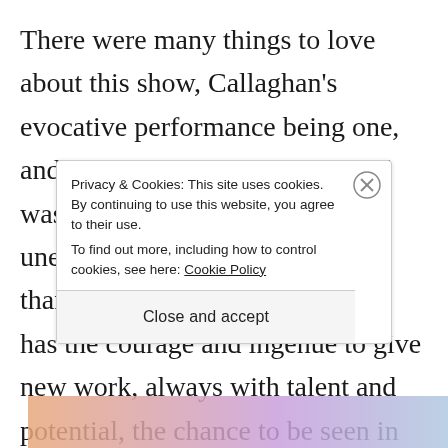There were many things to love about this show, Callaghan's evocative performance being one, and the use of lighting and sound was innovative, exciting, and unexpected. As always, I am thankful that the Old Fire Station has the courage and ingénue to give new work, always with talent and potential, the chance to be seen in Oxford. However further consideration of the [text continues below banner]
Privacy & Cookies: This site uses cookies. By continuing to use this website, you agree to their use.
To find out more, including how to control cookies, see here: Cookie Policy
Close and accept